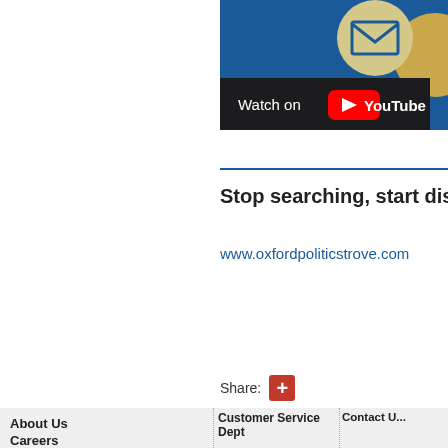[Figure (screenshot): YouTube video thumbnail showing a blue background with circular envelope icon and gold circle. A 'Watch on YouTube' bar is shown at the bottom of the thumbnail.]
Stop searching, start discove...
www.oxfordpoliticstrove.com
Share: +
About Us
Careers
OUP Blog
Academic, Professional, & General
Customer Service Dept
Should you have a question or problem, please contact our Customer Service Department.
Monday - Friday,
Contact U...
Join Our...
Find Your...